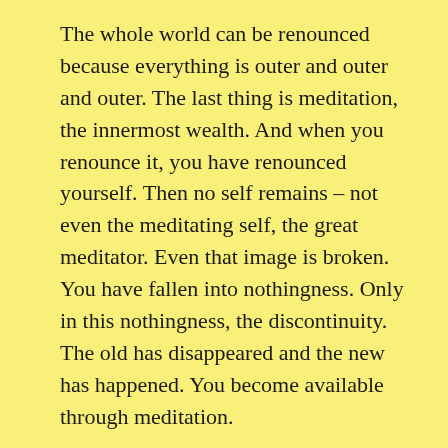The whole world can be renounced because everything is outer and outer and outer. The last thing is meditation, the innermost wealth. And when you renounce it, you have renounced yourself. Then no self remains – not even the meditating self, the great meditator. Even that image is broken. You have fallen into nothingness. Only in this nothingness, the discontinuity. The old has disappeared and the new has happened. You become available through meditation.
Whatsoever is felt through meditation, don't think that it is enlightenment. These are just glimpses of a lessening disease, of a dispersing disease. You feel good. The disease is less, so